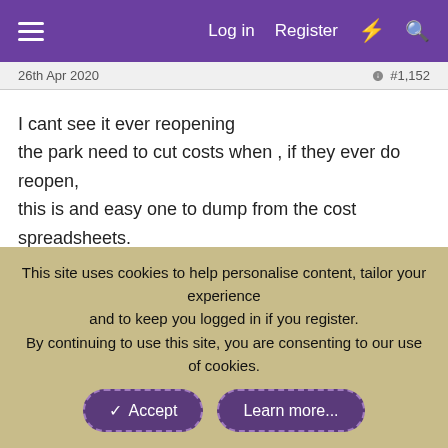Log in  Register
26th Apr 2020
#1,152
I cant see it ever reopening
the park need to cut costs when , if they ever do reopen,
this is and easy one to dump from the cost spreadsheets.
Matt N and Skyscraper
D4n
This site uses cookies to help personalise content, tailor your experience and to keep you logged in if you register.
By continuing to use this site, you are consenting to our use of cookies.